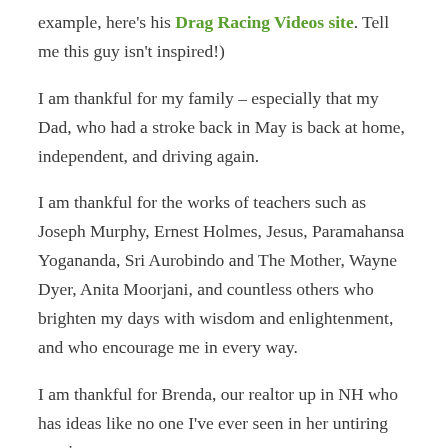example, here's his Drag Racing Videos site. Tell me this guy isn't inspired!)
I am thankful for my family – especially that my Dad, who had a stroke back in May is back at home, independent, and driving again.
I am thankful for the works of teachers such as Joseph Murphy, Ernest Holmes, Jesus, Paramahansa Yogananda, Sri Aurobindo and The Mother, Wayne Dyer, Anita Moorjani, and countless others who brighten my days with wisdom and enlightenment, and who encourage me in every way.
I am thankful for Brenda, our realtor up in NH who has ideas like no one I've ever seen in her untiring passion for...